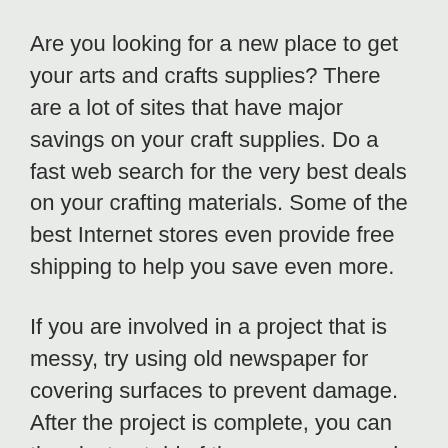Are you looking for a new place to get your arts and crafts supplies? There are a lot of sites that have major savings on your craft supplies. Do a fast web search for the very best deals on your crafting materials. Some of the best Internet stores even provide free shipping to help you save even more.
If you are involved in a project that is messy, try using old newspaper for covering surfaces to prevent damage. After the project is complete, you can then just get rid of the newspaper and move on.
Don’t pressure kids too much when they are doing arts and crafts. The main purpose of arts and crafts is to express and encourage creativity. They won’t be able to create if you point out problem areas with